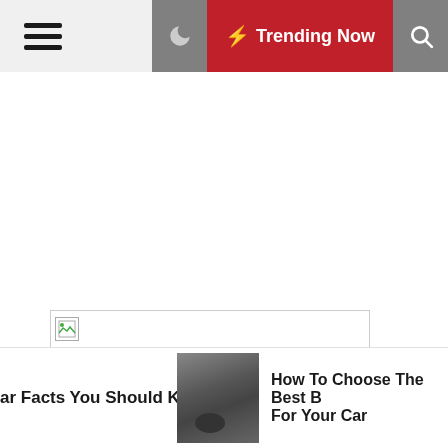≡  🌙  ⚡ Trending Now  🔍
[Figure (screenshot): Broken image placeholder — a bordered rectangle with a small broken-image icon in the top-left corner]
ar Facts You Should Know
[Figure (photo): Thumbnail photo showing a person working on a car brake or wheel component]
How To Choose The Best B For Your Car